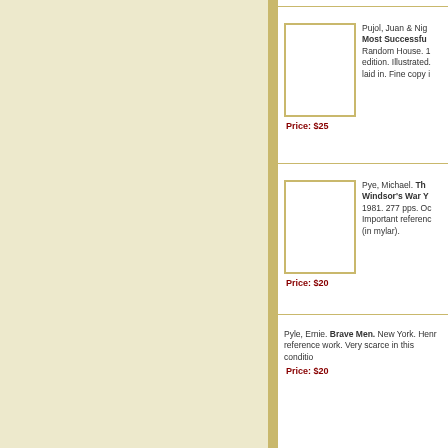[Figure (illustration): Book cover image placeholder for Pujol entry, white rectangle with gold border]
Pujol, Juan & Nigel West. Most Successful Double Agent. Random House. 1st edition. Illustrated. laid in. Fine copy in
Price: $25
[Figure (illustration): Book cover image placeholder for Pye entry, white rectangle with gold border]
Pye, Michael. The Windsor's War Y 1981. 277 pps. Oc Important reference (in mylar).
Price: $20
Pyle, Ernie. Brave Men. New York. Henry reference work. Very scarce in this condition
Price: $20